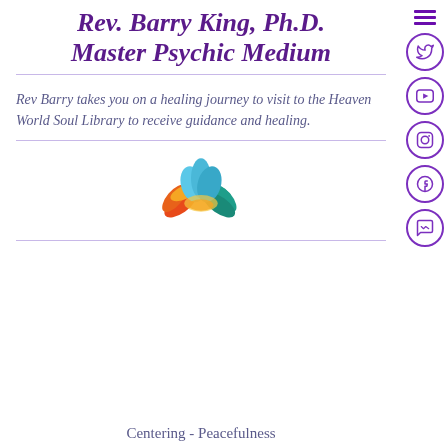Rev. Barry King, Ph.D. Master Psychic Medium
Rev Barry takes you on a healing journey to visit to the Heaven World Soul Library to receive guidance and healing.
[Figure (illustration): Colorful lotus flower illustration with rainbow petals — red/orange on left, teal/green on right, blue tips at top]
Centering - Peacefulness